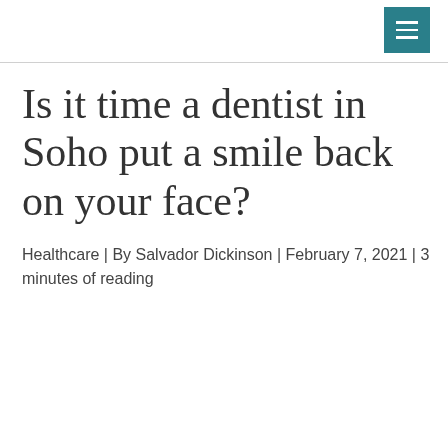☰
Is it time a dentist in Soho put a smile back on your face?
Healthcare | By Salvador Dickinson | February 7, 2021 | 3 minutes of reading